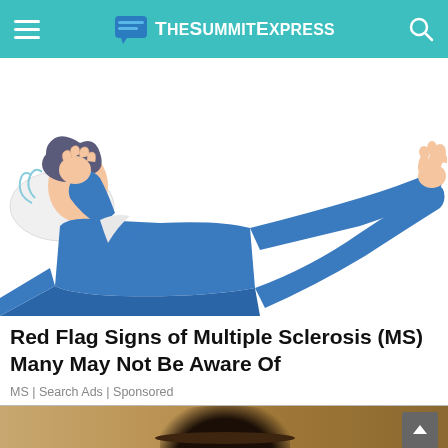TheSummitExpress
[Figure (illustration): Cartoon illustration of a person lying on their back wearing a blue suit, with one leg raised and arms partially raised, depicting muscle spasms or neurological symptoms associated with Multiple Sclerosis, on a white background.]
Red Flag Signs of Multiple Sclerosis (MS) Many May Not Be Aware Of
MS | Search Ads | Sponsored
[Figure (photo): Partial photo at the bottom of the page showing a sandy/desert scene with a hat, partially visible.]